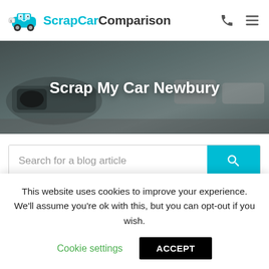ScrapCarComparison
[Figure (illustration): Hero banner with a car photo background and white bold text reading 'Scrap My Car Newbury']
Scrap My Car Newbury
Search for a blog article
Scrapping your old, damaged or broken vehicle in Newbury
This website uses cookies to improve your experience. We'll assume you're ok with this, but you can opt-out if you wish.
Cookie settings   ACCEPT